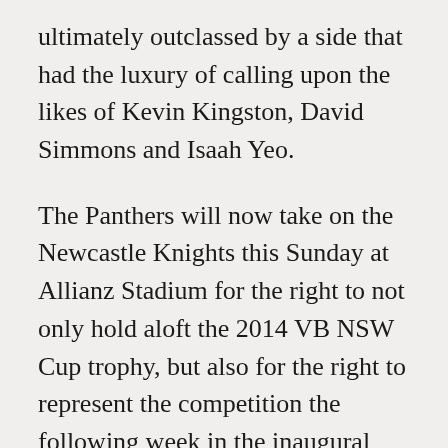ultimately outclassed by a side that had the luxury of calling upon the likes of Kevin Kingston, David Simmons and Isaah Yeo.
The Panthers will now take on the Newcastle Knights this Sunday at Allianz Stadium for the right to not only hold aloft the 2014 VB NSW Cup trophy, but also for the right to represent the competition the following week in the inaugural NRL State Championship at ANZ Stadium.
Penrith Panthers 31 (R Simpkins, R Campbell-Gillard, K Moss, L Capewell, K Naiqama tries; W Naiqama 3, T Humble 2 goals; T Humble field